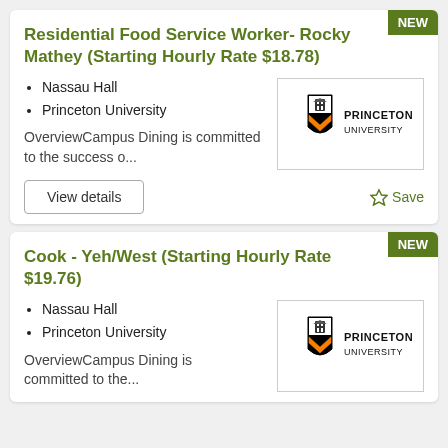Residential Food Service Worker- Rocky Mathey (Starting Hourly Rate $18.78)
Nassau Hall
Princeton University
OverviewCampus Dining is committed to the success o...
[Figure (logo): Princeton University shield logo with orange and black crest and text PRINCETON UNIVERSITY]
Cook - Yeh/West (Starting Hourly Rate $19.76)
Nassau Hall
Princeton University
OverviewCampus Dining is committed to the...
[Figure (logo): Princeton University shield logo with orange and black crest and text PRINCETON UNIVERSITY]